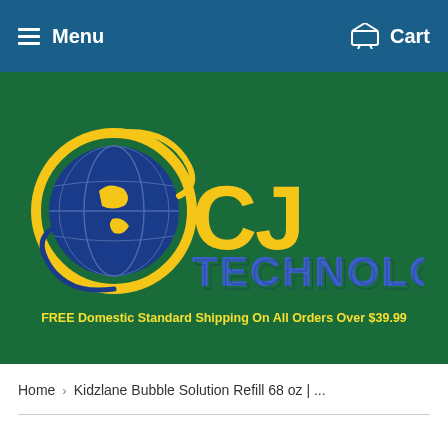Menu  Cart
[Figure (logo): CJ Technology logo with globe icon and stylized text on green background]
FREE Domestic Standard Shipping On All Orders Over $39.99
Home › Kidzlane Bubble Solution Refill 68 oz | ...